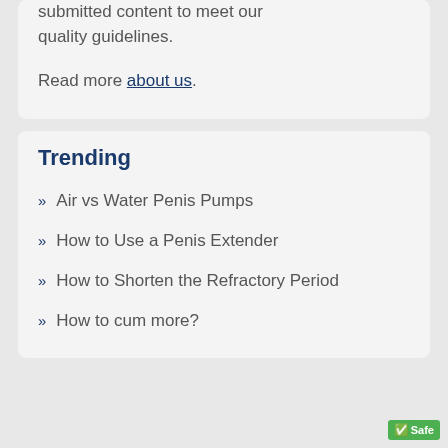submitted content to meet our quality guidelines.
Read more about us.
Trending
» Air vs Water Penis Pumps
» How to Use a Penis Extender
» How to Shorten the Refractory Period
» How to cum more?